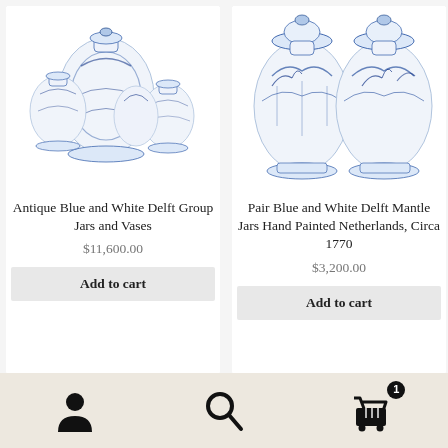[Figure (photo): Group of antique blue and white Delft jars and vases]
Antique Blue and White Delft Group Jars and Vases
$11,600.00
Add to cart
[Figure (photo): Pair of blue and white Delft mantle jars hand painted Netherlands circa 1770]
Pair Blue and White Delft Mantle Jars Hand Painted Netherlands, Circa 1770
$3,200.00
Add to cart
[Figure (screenshot): Bottom navigation bar with user/account icon, search icon, and shopping cart icon with badge showing 1 item]